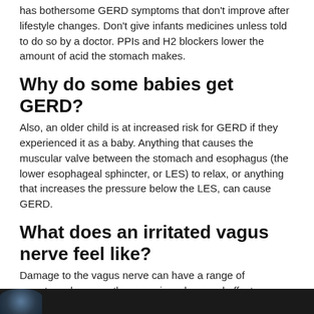has bothersome GERD symptoms that don't improve after lifestyle changes. Don't give infants medicines unless told to do so by a doctor. PPIs and H2 blockers lower the amount of acid the stomach makes.
Why do some babies get GERD?
Also, an older child is at increased risk for GERD if they experienced it as a baby. Anything that causes the muscular valve between the stomach and esophagus (the lower esophageal sphincter, or LES) to relax, or anything that increases the pressure below the LES, can cause GERD.
What does an irritated vagus nerve feel like?
Damage to the vagus nerve can have a range of symptoms because the nerve is so long and affects many areas. Potential symptoms of damage to the vagus nerve include: difficulty speaking or loss of voice. a voice that is hoarse or wheezy.
[Figure (photo): Dark image strip at bottom of page, partial view of a photo with a figure visible on the left side]